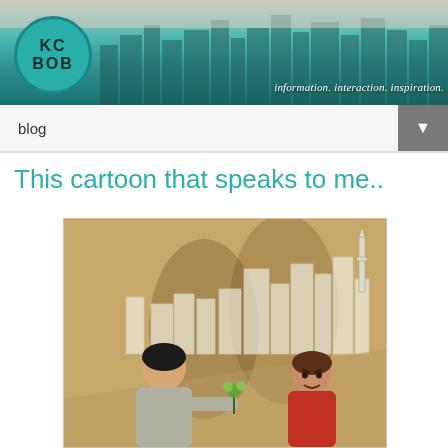KC BOB — information. interaction. inspiration.
blog
This cartoon that speaks to me..
[Figure (illustration): Cartoon illustration showing two figures in an urban Middle Eastern setting with buildings and a minaret in the background. One figure wearing a grey shirt faces away, the other wearing a red shirt faces forward with an angry expression. A small flower or plant is held between them.]